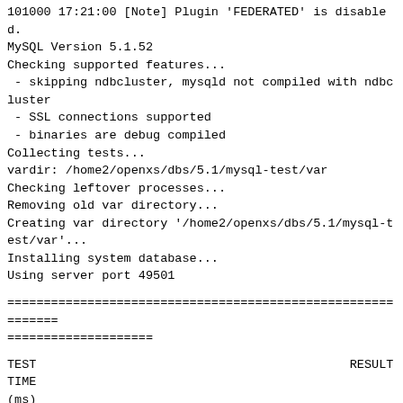101000 17:21:00 [Note] Plugin 'FEDERATED' is disabled.
MySQL Version 5.1.52
Checking supported features...
 - skipping ndbcluster, mysqld not compiled with ndbcluster
 - SSL connections supported
 - binaries are debug compiled
Collecting tests...
vardir: /home2/openxs/dbs/5.1/mysql-test/var
Checking leftover processes...
Removing old var directory...
Creating var directory '/home2/openxs/dbs/5.1/mysql-test/var'...
Installing system database...
Using server port 49501
============================================================
====================
TEST                                           RESULT   TIME
(ms)
------------------------------------------------------------
----